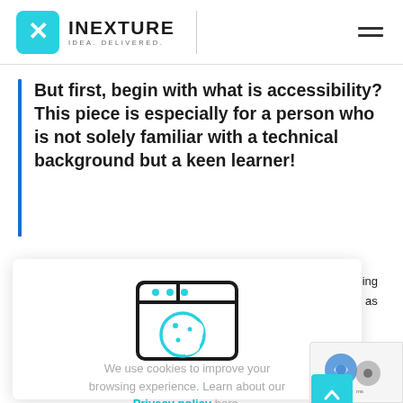INEXTURE IDEA. DELIVERED.
But first, begin with what is accessibility? This piece is especially for a person who is not solely familiar with a technical background but a keen learner!
[Figure (illustration): Cookie icon: a browser/folder window with a cookie inside]
We use cookies to improve your browsing experience. Learn about our Privacy policy here.
UNDERSTOOD. YUM!
websites being ve consider as making as tho slow network